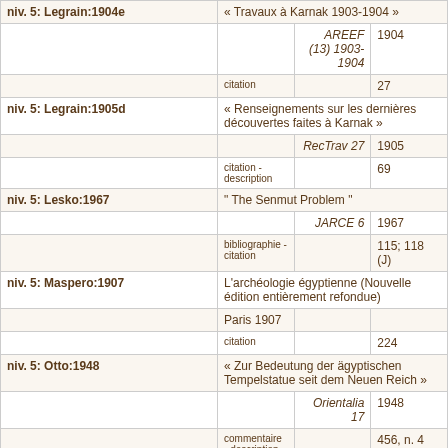| Key | Title/Info | Journal/Place | Year/Page |
| --- | --- | --- | --- |
| niv. 5: Legrain:1904e | « Travaux à Karnak 1903-1904 » |  |  |
|  |  | AREEF (13) 1903-1904 | 1904 |
|  | citation |  | 27 |
| niv. 5: Legrain:1905d | « Renseignements sur les dernières découvertes faites à Karnak » |  |  |
|  |  | RecTrav 27 | 1905 |
|  | citation - description |  | 69 |
| niv. 5: Lesko:1967 | " The Senmut Problem " |  |  |
|  |  | JARCE 6 | 1967 |
|  | bibliographie - citation |  | 115; 118 (J) |
| niv. 5: Maspero:1907 | L'archéologie égyptienne (Nouvelle édition entièrement refondue) |  |  |
|  | Paris 1907 |  |  |
|  | citation |  | 224 |
| niv. 5: Otto:1948 | « Zur Bedeutung der ägyptischen Tempelstatue seit dem Neuen Reich » |  |  |
|  |  | Orientalia 17 | 1948 |
|  | commentaire - description - citation |  | 456, n. 4 |
| niv. 5: Ratié:1979 | La reine Hatchepsout. Sources et problèmes |  |  |
|  | Leiden 1979 | Orientalia Monspeliensia 1 |  |